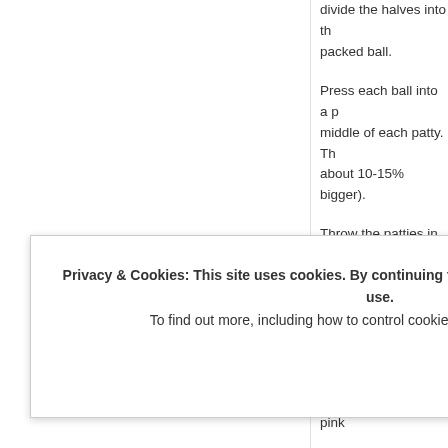divide the halves into th... packed ball.
Press each ball into a p... middle of each patty. Th... about 10-15% bigger).
Throw the patties in the... Make sure the grill is H... grilling, season the othe... are visible grill marks (a... medium-just a little pink...
After flipping, add your... shiitake burger), cover,...
Privacy & Cookies: This site uses cookies. By continuing to use this website, you agree to their use. To find out more, including how to control cookies, see here: Cookie Policy
Close and accept